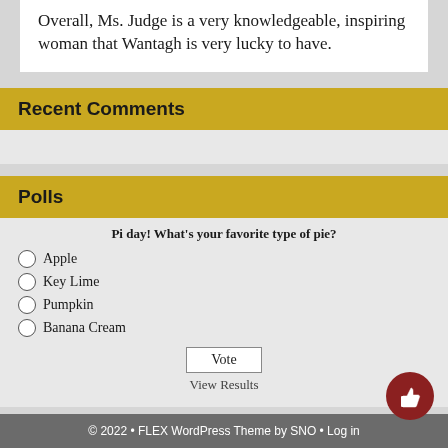Overall, Ms. Judge is a very knowledgeable, inspiring woman that Wantagh is very lucky to have.
Recent Comments
Polls
Pi day! What's your favorite type of pie?
Apple
Key Lime
Pumpkin
Banana Cream
Vote
View Results
© 2022 • FLEX WordPress Theme by SNO • Log in